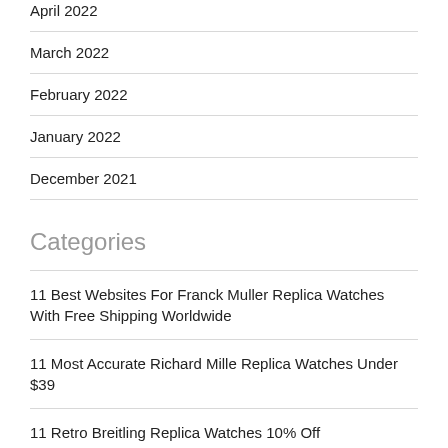April 2022
March 2022
February 2022
January 2022
December 2021
Categories
11 Best Websites For Franck Muller Replica Watches With Free Shipping Worldwide
11 Most Accurate Richard Mille Replica Watches Under $39
11 Retro Breitling Replica Watches 10% Off